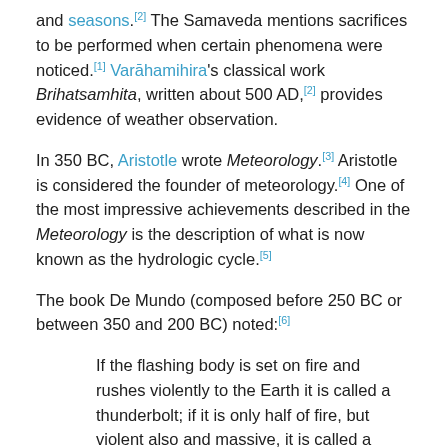and seasons.[2] The Samaveda mentions sacrifices to be performed when certain phenomena were noticed.[1] Varāhamihira's classical work Brihatsamhita, written about 500 AD,[2] provides evidence of weather observation.
In 350 BC, Aristotle wrote Meteorology.[3] Aristotle is considered the founder of meteorology.[4] One of the most impressive achievements described in the Meteorology is the description of what is now known as the hydrologic cycle.[5]
The book De Mundo (composed before 250 BC or between 350 and 200 BC) noted:[6]
If the flashing body is set on fire and rushes violently to the Earth it is called a thunderbolt; if it is only half of fire, but violent also and massive, it is called a meteor; if it is entirely free from fire, it is called a smoking bolt. They are all called 'swooping bolts' because they swoop down upon the Earth. Lightning is sometimes smoky, and is then called